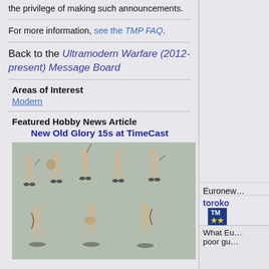the privilege of making such announcements.
For more information, see the TMP FAQ.
Back to the Ultramodern Warfare (2012-present) Message Board
Areas of Interest
Modern
Featured Hobby News Article
New Old Glory 15s at TimeCast
[Figure (photo): Photo of unpainted metal miniature figurines (soldiers/warriors) on a light blue-grey background, arranged in two rows. Top row shows 5 figures in various action poses with weapons, bottom row shows 3-4 figures including archers.]
Euronew…
toroko
What Eu… poor gu…